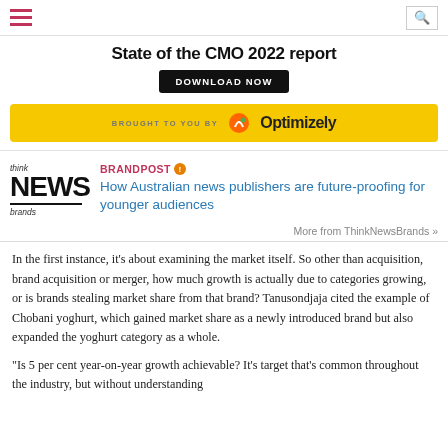State of the CMO 2022 report
DOWNLOAD NOW
[Figure (logo): Optimizely sponsor banner with yellow background - BROUGHT TO YOU BY Optimizely logo]
[Figure (logo): Think NEWS brands logo]
BRANDPOST How Australian news publishers are future-proofing for younger audiences
More from ThinkNewsBrands »
In the first instance, it's about examining the market itself. So other than acquisition, brand acquisition or merger, how much growth is actually due to categories growing, or is brands stealing market share from that brand? Tanusondjaja cited the example of Chobani yoghurt, which gained market share as a newly introduced brand but also expanded the yoghurt category as a whole.
“Is 5 per cent year-on-year growth achievable? It’s target that’s common throughout the industry, but without understanding